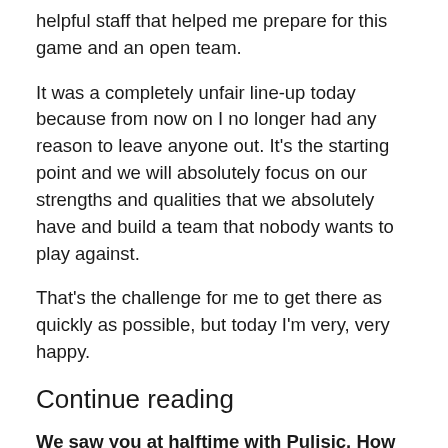helpful staff that helped me prepare for this game and an open team.
It was a completely unfair line-up today because from now on I no longer had any reason to leave anyone out. It's the starting point and we will absolutely focus on our strengths and qualities that we absolutely have and build a team that nobody wants to play against.
That's the challenge for me to get there as quickly as possible, but today I'm very, very happy.
Continue reading
We saw you at halftime with Pulisic. How important will he and Thiago Silva be in getting your ideas across quickly?
Yeah, but the funny thing is when you join a team in